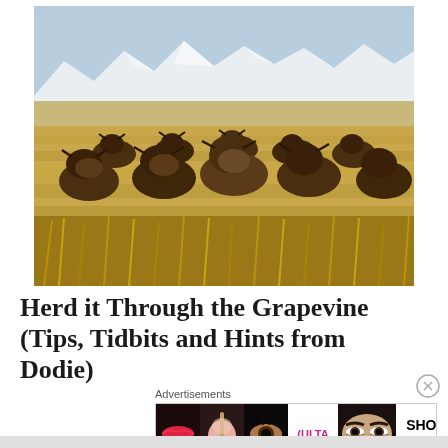[Figure (photo): A herd of American bison walking through tall prairie grass toward the camera, with snow-capped mountains in the background under a pale blue sky.]
Herd it Through the Grapevine (Tips, Tidbits and Hints from Dodie)
Advertisements
[Figure (illustration): Ulta Beauty advertisement banner showing close-up beauty images (lips with lipstick, makeup brush, eye with makeup, Ulta logo, eyes with mascara) and a 'SHOP NOW' call to action.]